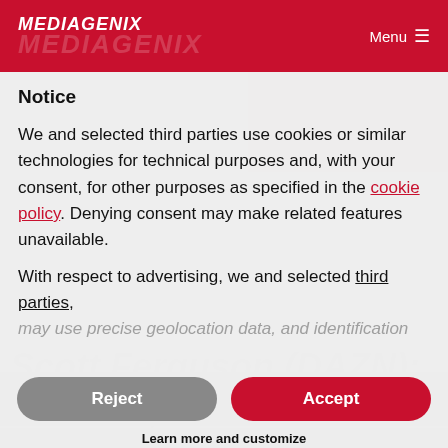MEDIAGENIX | Menu
Notice
We and selected third parties use cookies or similar technologies for technical purposes and, with your consent, for other purposes as specified in the cookie policy. Denying consent may make related features unavailable.
With respect to advertising, we and selected third parties, may use precise geolocation data, and identification
Reject
Accept
Learn more and customize